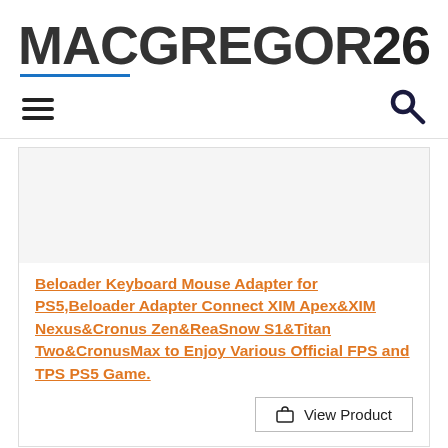[Figure (logo): MACGREGOR26 logo in bold dark grey letters with a blue underline beneath 'MACGREGOR']
[Figure (infographic): Navigation bar with hamburger menu icon on the left and a search (magnifying glass) icon on the right]
[Figure (photo): Product image placeholder area (grey/white box)]
Beloader Keyboard Mouse Adapter for PS5,Beloader Adapter Connect XIM Apex&XIM Nexus&Cronus Zen&ReaSnow S1&Titan Two&CronusMax to Enjoy Various Official FPS and TPS PS5 Game.
View Product